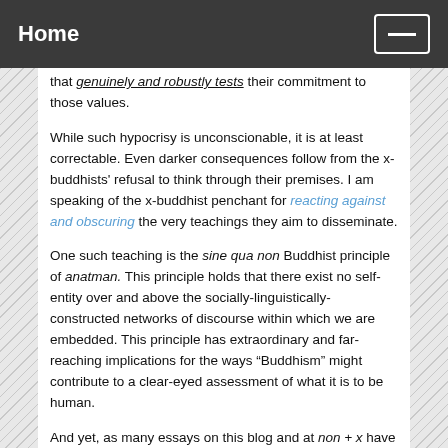Home
that genuinely and robustly tests their commitment to those values.
While such hypocrisy is unconscionable, it is at least correctable. Even darker consequences follow from the x-buddhists' refusal to think through their premises. I am speaking of the x-buddhist penchant for reacting against and obscuring the very teachings they aim to disseminate.
One such teaching is the sine qua non Buddhist principle of anatman. This principle holds that there exist no self-entity over and above the socially-linguistically-constructed networks of discourse within which we are embedded. This principle has extraordinary and far-reaching implications for the ways “Buddhism” might contribute to a clear-eyed assessment of what it is to be human.
And yet, as many essays on this blog and at non + x have shown, x-buddhists refuse to dispense with atman, positing at every turn some version of a